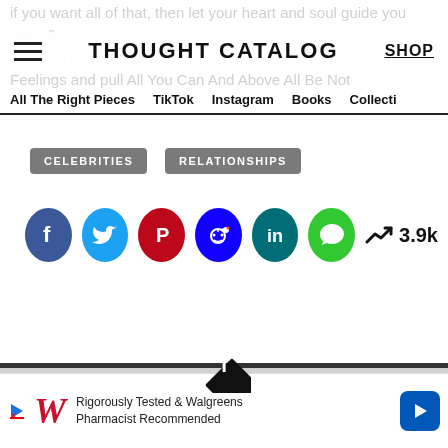THOUGHT CATALOG
All The Right Pieces   TikTok   Instagram   Books   Collecti
CELEBRITIES
RELATIONSHIPS
[Figure (infographic): Social share buttons row: Facebook (blue), Twitter (cyan), Pinterest (red), Reddit (blue), LinkedIn (teal), Messages (green), trending arrow icon, 3.9k count]
[Figure (logo): Thought Catalog diamond T logo on horizontal divider bar]
[Figure (infographic): Advertisement banner: Walgreens logo with play button, text 'Rigorously Tested & Walgreens Pharmacist Recommended', blue navigation arrow icon]